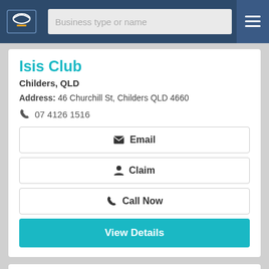Business type or name
Isis Club
Childers, QLD
Address: 46 Churchill St, Childers QLD 4660
07 4126 1516
Email
Claim
Call Now
View Details
Gayndah Delights Cuisine